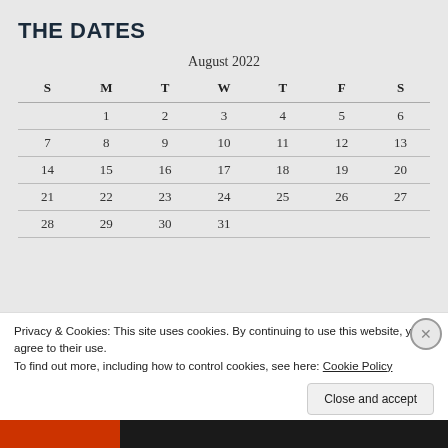THE DATES
| S | M | T | W | T | F | S |
| --- | --- | --- | --- | --- | --- | --- |
|  | 1 | 2 | 3 | 4 | 5 | 6 |
| 7 | 8 | 9 | 10 | 11 | 12 | 13 |
| 14 | 15 | 16 | 17 | 18 | 19 | 20 |
| 21 | 22 | 23 | 24 | 25 | 26 | 27 |
| 28 | 29 | 30 | 31 |  |  |  |
Privacy & Cookies: This site uses cookies. By continuing to use this website, you agree to their use.
To find out more, including how to control cookies, see here: Cookie Policy
Close and accept